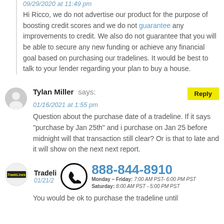09/29/2020 at 11:49 pm
Hi Ricco, we do not advertise our product for the purpose of boosting credit scores and we do not guarantee any improvements to credit. We also do not guarantee that you will be able to secure any new funding or achieve any financial goal based on purchasing our tradelines. It would be best to talk to your lender regarding your plan to buy a house.
Tylan Miller says:
01/16/2021 at 1:55 pm
Question about the purchase date of a tradeline. If it says “purchase by Jan 25th” and i purchase on Jan 25 before midnight will that transaction still clear? Or is that to late and it will show on the next next report.
Tradeli 01/21/2
888-844-8910 Monday – Friday: 7:00 AM PST- 6:00 PM PST Saturday: 8:00 AM PST - 5:00 PM PST
You would be ok to purchase the tradeline until